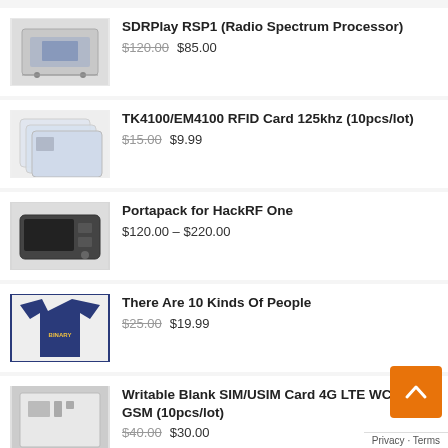SDRPlay RSP1 (Radio Spectrum Processor) $120.00 $85.00
TK4100/EM4100 RFID Card 125khz (10pcs/lot) $15.00 $9.99
Portapack for HackRF One $120.00 – $220.00
There Are 10 Kinds Of People $25.00 $19.99
Writable Blank SIM/USIM Card 4G LTE WCDMA GSM (10pcs/lot) $40.00 $30.00
Proxmark3 RDV3 Kit $58.00 – $65.00